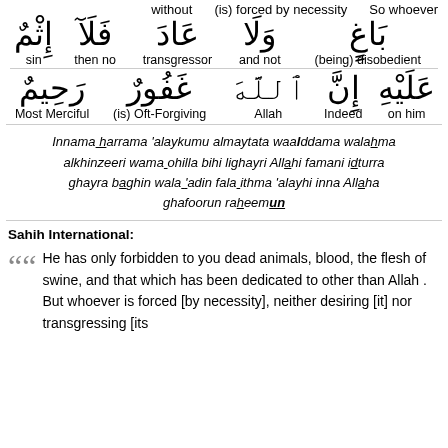without   (is) forced by necessity   So whoever
[Figure (other): Arabic word-for-word translation table with two rows. Row 1: إِثْمٌ (sin), فَلَآ (then no), عَادَ (transgressor), وَلَا (and not), بَاغٍ (being disobedient). Row 2: رَحِيمٌ (Most Merciful), غَفُورٌ (is Oft-Forgiving), ٱللَّهَ (Allah), إِنَّ (Indeed), عَلَيْهِ (on him).]
Innama harrama 'alaykumu almaytata waalddama walahma alkhinzeeri wama ohilla bihi lighayri Allahi famani idturra ghayra baghin wala 'adin fala ithma 'alayhi inna Allaha ghafoorun raheemun
Sahih International:
He has only forbidden to you dead animals, blood, the flesh of swine, and that which has been dedicated to other than Allah . But whoever is forced [by necessity], neither desiring [it] nor transgressing [its